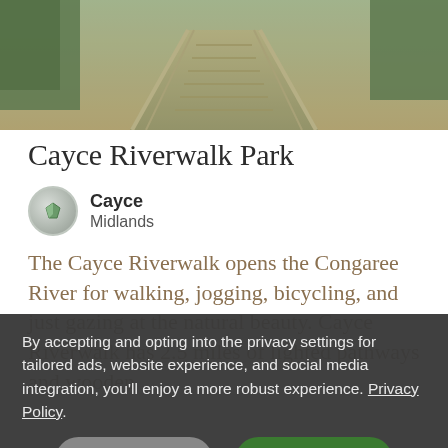[Figure (photo): Aerial/perspective photo of a wooden boardwalk/bridge path through trees, with railings on both sides, sunlight dappling through foliage]
Cayce Riverwalk Park
Cayce
Midlands
The Cayce Riverwalk opens the Congaree River for walking, jogging, bicycling, and just gazing at the natural beauty. Cayce Riverwalk has 2.5 miles of lighted pathways and wooden
By accepting and opting into the privacy settings for tailored ads, website experience, and social media integration, you'll enjoy a more robust experience. Privacy Policy
Details
Okay